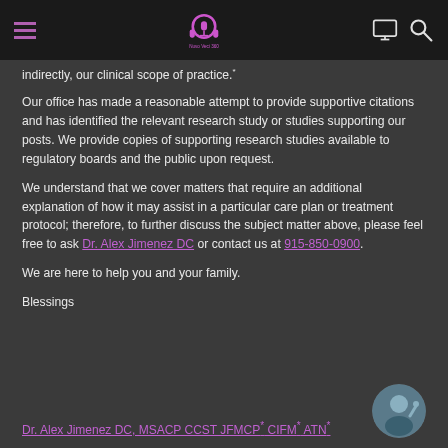Nuvo Veci 360 — navigation header with logo, hamburger menu, monitor icon, search icon
indirectly, our clinical scope of practice.*
Our office has made a reasonable attempt to provide supportive citations and has identified the relevant research study or studies supporting our posts. We provide copies of supporting research studies available to regulatory boards and the public upon request.
We understand that we cover matters that require an additional explanation of how it may assist in a particular care plan or treatment protocol; therefore, to further discuss the subject matter above, please feel free to ask Dr. Alex Jimenez DC or contact us at 915-850-0900.
We are here to help you and your family.
Blessings
Dr. Alex Jimenez DC, MSACP CCST JFMCP* CIFM* ATN*